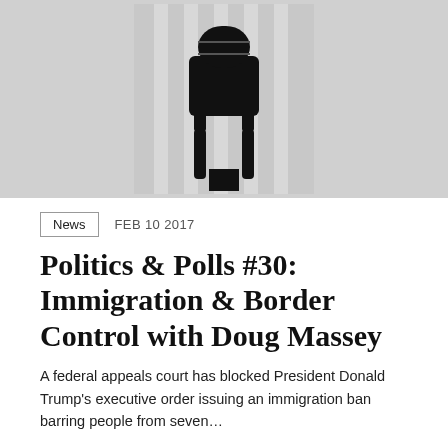[Figure (illustration): Grayscale illustration of a vintage microphone silhouette against a light gray striped background]
News   FEB 10 2017
Politics & Polls #30: Immigration & Border Control with Doug Massey
A federal appeals court has blocked President Donald Trump's executive order issuing an immigration ban barring people from seven…
[Figure (photo): Partial bottom image with orange bar at top and black background, partially cropped]